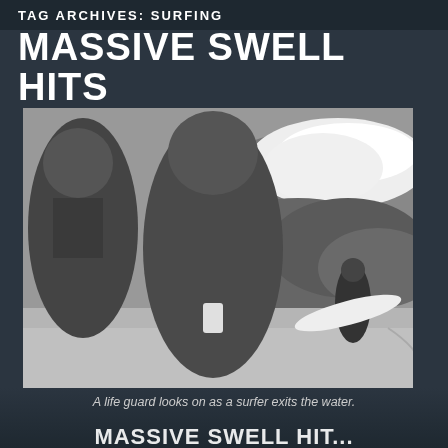TAG ARCHIVES: SURFING
MASSIVE SWELL HITS
MAY 05 2015 BY BRENDAN LUTES | 0 COMMENTS
[Figure (photo): Black and white photo of spectators watching a surfer carry a surfboard exiting the water near a rocky jetty with large breaking waves in the background. Viewed from behind the observers.]
A life guard looks on as a surfer exits the water.
Massive Swell Hit...